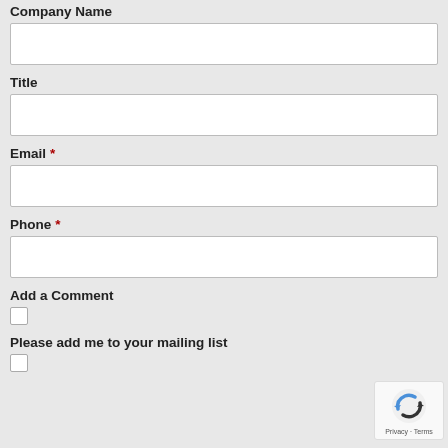Company Name
Title
Email *
Phone *
Add a Comment
Please add me to your mailing list